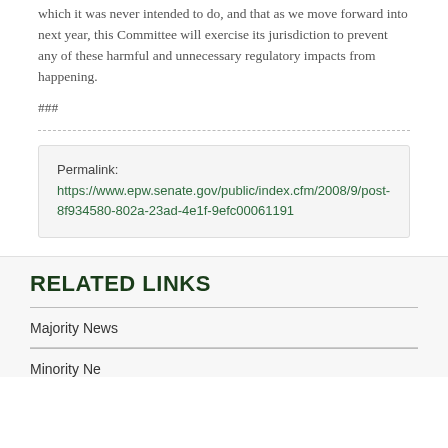which it was never intended to do, and that as we move forward into next year, this Committee will exercise its jurisdiction to prevent any of these harmful and unnecessary regulatory impacts from happening.
###
Permalink: https://www.epw.senate.gov/public/index.cfm/2008/9/post-8f934580-802a-23ad-4e1f-9efc00061191
RELATED LINKS
Majority News
Minority News